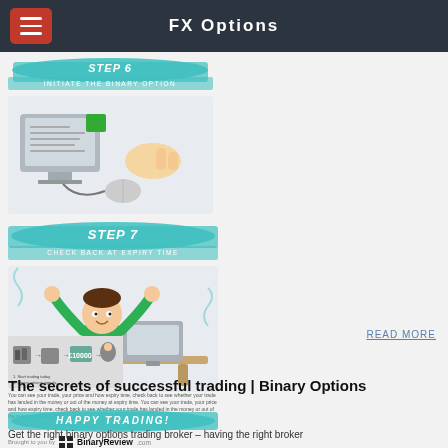FX Options
[Figure (infographic): Step 6 - Initiate the Binary Option: illustration showing a computer monitor and a hand clicking a mouse with a green button]
[Figure (infographic): Step 7 - Check Back at Expiry Time: illustration of a happy cartoon boy with arms raised at a computer desk]
You can see your trade, your price and how expiry time, check back to see whether your trade has landed in the money or out of the money at expiry time.
[Figure (infographic): Happy Trading! banner with teal/turquoise brush stroke design]
[Figure (logo): Brought to you by BinaryReview.com logo with grid icon]
[Figure (infographic): Article thumbnail showing binary options trading steps infographic with machines and money]
READ MORE
The secrets of successful trading | Binary Options
Get the right binary options trading broker – having the right broker